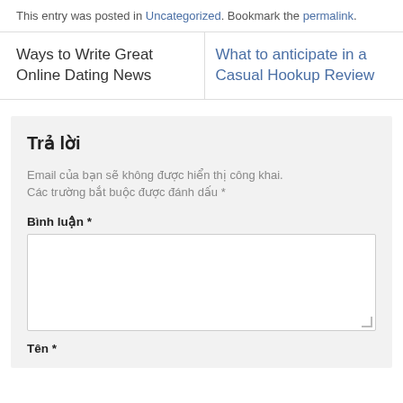This entry was posted in Uncategorized. Bookmark the permalink.
Ways to Write Great Online Dating News
What to anticipate in a Casual Hookup Review
Trả lời
Email của bạn sẽ không được hiển thị công khai. Các trường bắt buộc được đánh dấu *
Bình luận *
Tên *